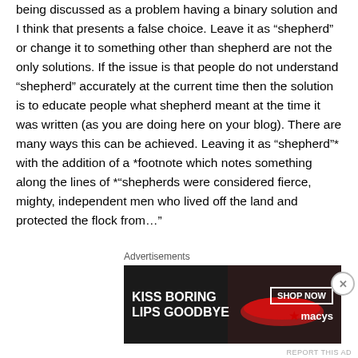being discussed as a problem having a binary solution and I think that presents a false choice. Leave it as “shepherd” or change it to something other than shepherd are not the only solutions. If the issue is that people do not understand “shepherd” accurately at the current time then the solution is to educate people what shepherd meant at the time it was written (as you are doing here on your blog). There are many ways this can be achieved. Leaving it as “shepherd”* with the addition of a *footnote which notes something along the lines of *“shepherds were considered fierce, mighty, independent men who lived off the land and protected the flock from...”
Advertisements
[Figure (other): Advertisement banner for Macy's lipstick promotion. Dark background with woman's face/lips image on left. Text reads 'KISS BORING LIPS GOODBYE' in white bold font. Right side has 'SHOP NOW' button in white border and 'macys' logo with red star.]